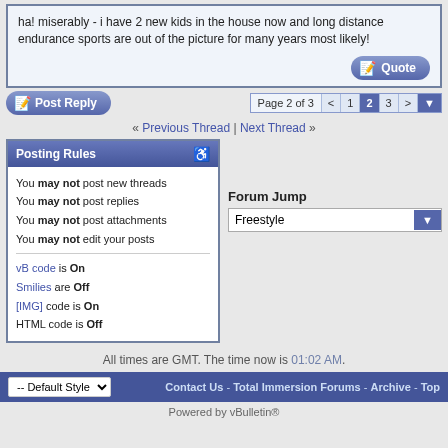ha! miserably - i have 2 new kids in the house now and long distance endurance sports are out of the picture for many years most likely!
Page 2 of 3  < 1 2 3 >
« Previous Thread | Next Thread »
Posting Rules
You may not post new threads
You may not post replies
You may not post attachments
You may not edit your posts
vB code is On
Smilies are Off
[IMG] code is On
HTML code is Off
Forum Jump
Freestyle
All times are GMT. The time now is 01:02 AM.
-- Default Style  Contact Us - Total Immersion Forums - Archive - Top
Powered by vBulletin®